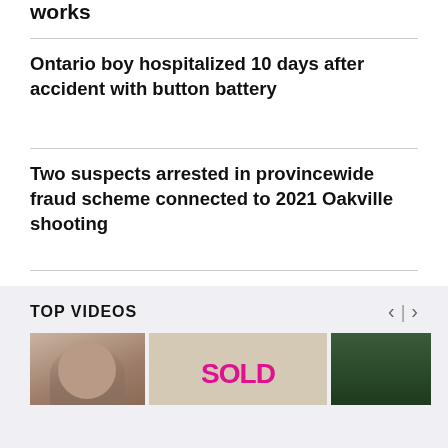works
Ontario boy hospitalized 10 days after accident with button battery
Two suspects arrested in provincewide fraud scheme connected to 2021 Oakville shooting
Suspect arrested after man fatally stabbed in Scarborough apartment building
TOP VIDEOS
[Figure (photo): Three video thumbnails in a horizontal strip under TOP VIDEOS section: a man's face, a SOLD real estate sign, and a green-background image]